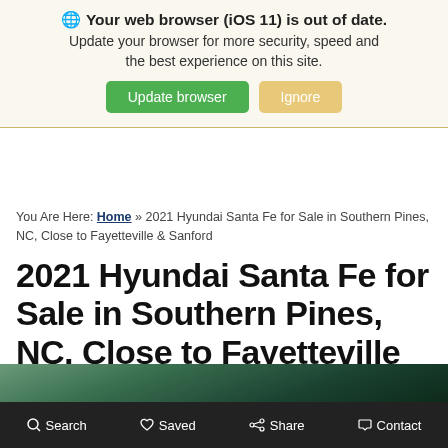[Figure (screenshot): Browser update warning banner with globe icon, bold text 'Your web browser (iOS 11) is out of date.', subtitle 'Update your browser for more security, speed and the best experience on this site.', and two buttons: green 'Update browser' and tan 'Ignore'.]
You Are Here: Home » 2021 Hyundai Santa Fe for Sale in Southern Pines, NC, Close to Fayetteville & Sanford
2021 Hyundai Santa Fe for Sale in Southern Pines, NC, Close to Fayetteville & Sanford
[Figure (photo): Partial view of a landscape/mountain photo at the bottom of the page]
Search   Saved   Share   Contact